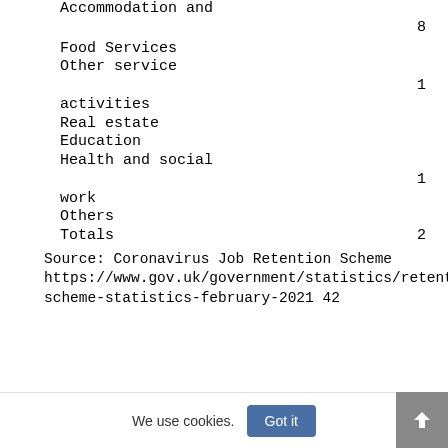Accommodation and
Food Services    8
Other service
activities    1
Real estate
Education
Health and social
work    1
Others
Totals    2
Source: Coronavirus Job Retention Scheme https://www.gov.uk/government/statistics/retention-scheme-statistics-february-2021 42